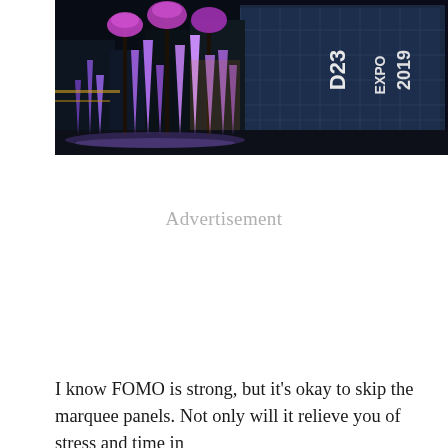[Figure (photo): Night-time photo of what appears to be the D23 Expo venue with purple and blue illuminated water fountains in front of a large glass building with 'D23 EXPO 2019' signage. Palm trees are lit in pink/purple. The scene is vibrant with purple, blue, and gold lighting.]
Advertisement
I know FOMO is strong, but it's okay to skip the marquee panels. Not only will it relieve you of stress and time in lines, but it frees up some of your time to explore the show floor, which is crucial. At past D23 Expos, I've